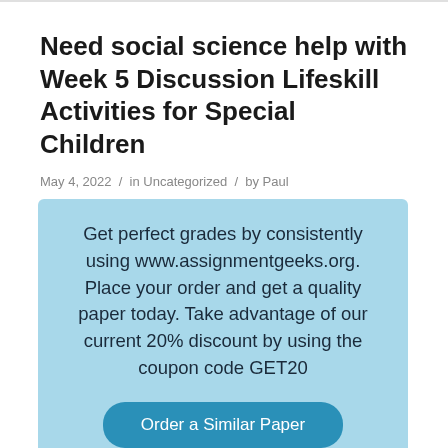Need social science help with Week 5 Discussion Lifeskill Activities for Special Children
May 4, 2022 / in Uncategorized / by Paul
[Figure (infographic): Light blue promotional box with text: 'Get perfect grades by consistently using www.assignmentgeeks.org. Place your order and get a quality paper today. Take advantage of our current 20% discount by using the coupon code GET20'. Two teal rounded buttons: 'Order a Similar Paper' and 'Order a Different Paper'.]